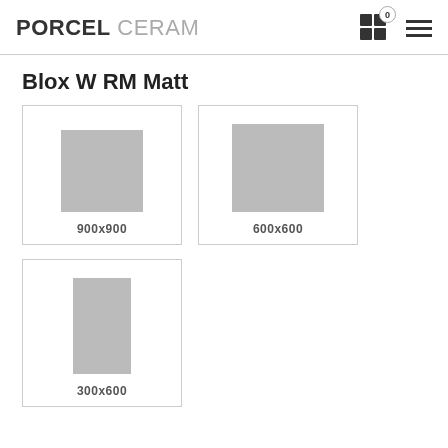PORCEL CERAM
Blox W RM Matt
[Figure (illustration): Tile size card showing a gray square tile placeholder with label 900x900]
[Figure (illustration): Tile size card showing a gray square tile placeholder with label 600x600]
[Figure (illustration): Tile size card showing a gray rectangular tile placeholder with label 300x600]